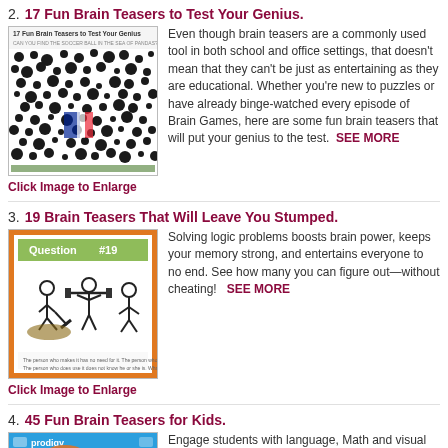2. 17 Fun Brain Teasers to Test Your Genius.
[Figure (screenshot): Thumbnail image of '17 Fun Brain Teasers to Test Your Genius' article showing a puzzle with hidden soccer ball among dalmatian dogs]
Even though brain teasers are a commonly used tool in both school and office settings, that doesn't mean that they can't be just as entertaining as they are educational. Whether you're new to puzzles or have already binge-watched every episode of Brain Games, here are some fun brain teasers that will put your genius to the test.  SEE MORE
Click Image to Enlarge
3. 19 Brain Teasers That Will Leave You Stumped.
[Figure (screenshot): Thumbnail image of '19 Brain Teasers That Will Leave You Stumped' showing Question #19 with stick figure logic puzzle]
Solving logic problems boosts brain power, keeps your memory strong, and entertains everyone to no end. See how many you can figure out—without cheating!   SEE MORE
Click Image to Enlarge
4. 45 Fun Brain Teasers for Kids.
[Figure (screenshot): Thumbnail image of '45 Fun Brain Teasers for Kids' from Prodigy showing a young girl thinking]
Engage students with language, Math and visual brain teaser questions. Answers are included.  SEE MORE